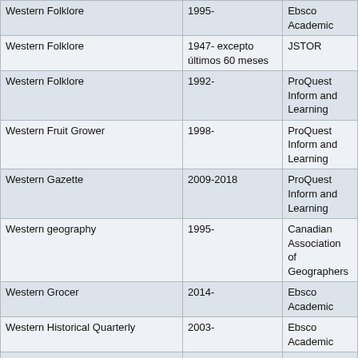| Journal Title | Coverage | Provider |
| --- | --- | --- |
| Western Folklore | 1995- | Ebsco Academic |
| Western Folklore | 1947- excepto últimos 60 meses | JSTOR |
| Western Folklore | 1992- | ProQuest Inform and Learning |
| Western Fruit Grower | 1998- | ProQuest Inform and Learning |
| Western Gazette | 2009-2018 | ProQuest Inform and Learning |
| Western geography | 1995- | Canadian Association of Geographers |
| Western Grocer | 2014- | Ebsco Academic |
| Western Historical Quarterly | 2003- | Ebsco Academic |
| Western Historical Quarterly | 1996- | Oxford Academic |
| Western Historical Quarterly | 1970- excepto últimos 36 meses | JSTOR |
| Western Humanities Review | 2006- | Ebsco Academic |
| Western Indian Ocean Journal of Marine Science | 2003- | AJOL |
| Western Journal of Agricultural Economics | 1977-1991 | JSTOR |
| Western Journal of Agricultural Economics | 1977-1991 | University of Minnesota Library |
| Western Journal of Applied Forestry | 1996-2013 |  |
| Western Journal of Applied Forestry | 2009-2013 | Ebsco Academic |